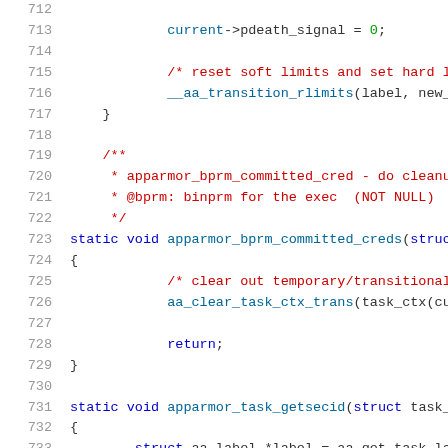[Figure (screenshot): Source code listing (C language) showing lines 712-733 of a Linux kernel AppArmor security module file. Lines are numbered on the left in gray. Code uses syntax highlighting: blue for keywords, red for comments, teal/dark-cyan for function names, green for numbers.]